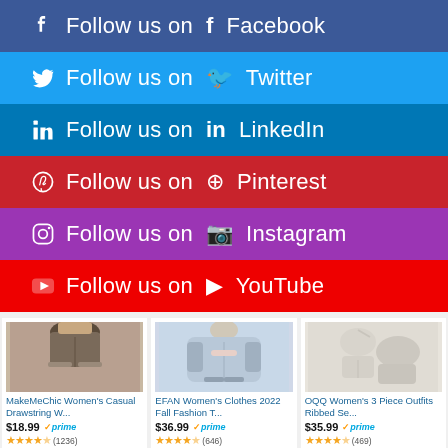Follow us on Facebook
Follow us on Twitter
Follow us on LinkedIn
Follow us on Pinterest
Follow us on Instagram
Follow us on YouTube
[Figure (photo): MakeMeChic Women's Casual Drawstring W... product photo showing gray shorts on a model]
MakeMeChic Women's Casual Drawstring W...
$18.99 ✓prime (1236)
[Figure (photo): EFAN Women's Clothes 2022 Fall Fashion T... product photo showing light blue zip hoodie]
EFAN Women's Clothes 2022 Fall Fashion T...
$36.99 ✓prime (646)
[Figure (photo): OQQ Women's 3 Piece Outfits Ribbed Se... product photo showing cream ribbed set]
OQQ Women's 3 Piece Outfits Ribbed Se...
$35.99 ✓prime (469)